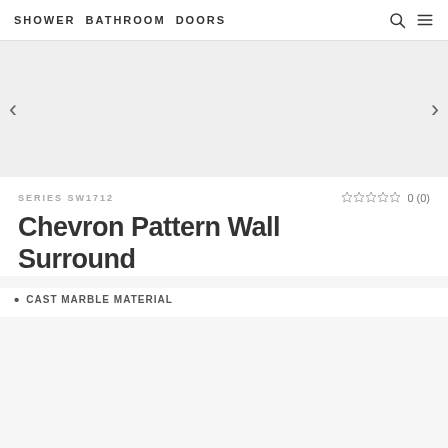SHOWER BATHROOM DOORS
[Figure (other): Product image area with left and right navigation arrows on a light gray background]
SERIES SW1712
0 (0)
Chevron Pattern Wall Surround
CAST MARBLE MATERIAL